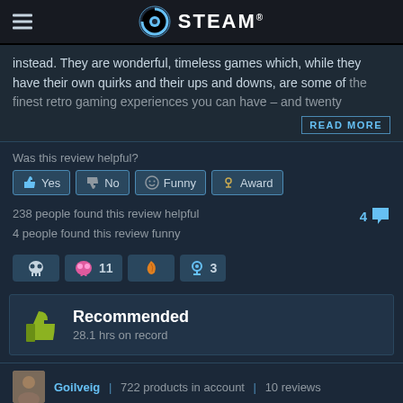STEAM
instead. They are wonderful, timeless games which, while they have their own quirks and their ups and downs, are some of the finest retro gaming experiences you can have – and twenty
READ MORE
Was this review helpful?
Yes | No | Funny | Award
238 people found this review helpful
4 people found this review funny
4 (comments)
[Figure (infographic): Badge icons row: cow skull badge, pink badge with 11, orange feather badge, blue award badge with 3]
Recommended
28.1 hrs on record
Goilveig | 722 products in account | 10 reviews
POSTED: NOVEMBER 29, 2019 ... STEAM ...